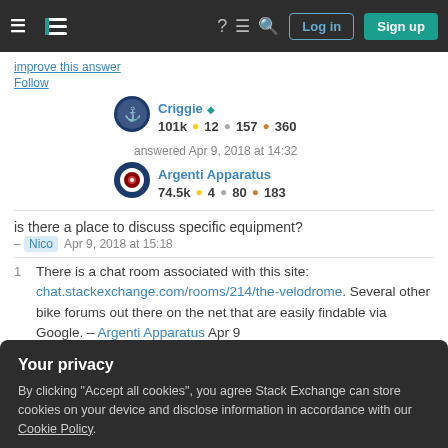Stack Exchange navigation bar with Log in and Sign up buttons
improve this answer
Follow
Criggie ◆ 101k ○12 ○157 ○360
answered Apr 9, 2018 at 14:32
Argenti Apparatus 74.5k ○4 ○80 ○183
is there a place to discuss specific equipment? – Nico  Apr 9, 2018 at 15:18
1  There is a chat room associated with this site: chat.stackexchange.com/rooms/214/the-velodrome. Several other bike forums out there on the net that are easily findable via Google. – Argenti Apparatus  Apr 9
Your privacy
By clicking "Accept all cookies", you agree Stack Exchange can store cookies on your device and disclose information in accordance with our Cookie Policy.
Accept all cookies    Customize settings
@Andy P... agreed with Andy P, been on a couple of